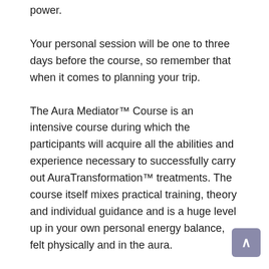power.
Your personal session will be one to three days before the course, so remember that when it comes to planning your trip.
The Aura Mediator™ Course is an intensive course during which the participants will acquire all the abilities and experience necessary to successfully carry out AuraTransformation™ treatments. The course itself mixes practical training, theory and individual guidance and is a huge level up in your own personal energy balance, felt physically and in the aura.
You will also have access to 2 months support after the course with Sarah by Skype and email. After 2 months support time you can book your Course Completion call with Sarah.